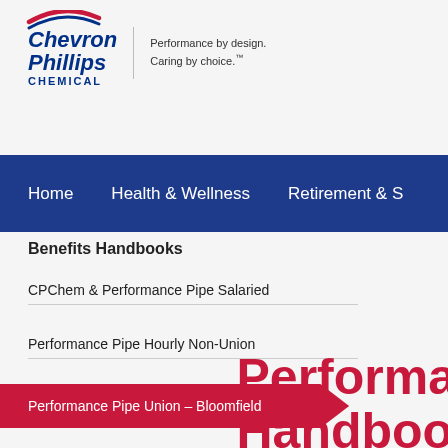[Figure (logo): Chevron Phillips Chemical logo with swoosh graphic and tagline 'Performance by design. Caring by choice.']
Home   Health & Wellness   Retirement & S...
Benefits Handbooks
CPChem & Performance Pipe Salaried
Performance Pipe Hourly Non-Union
Performance Pipe Union – Bloomfield
Performance Pipe Union – Fairfield
Puerto Rico Core LLC
Performance Handbook